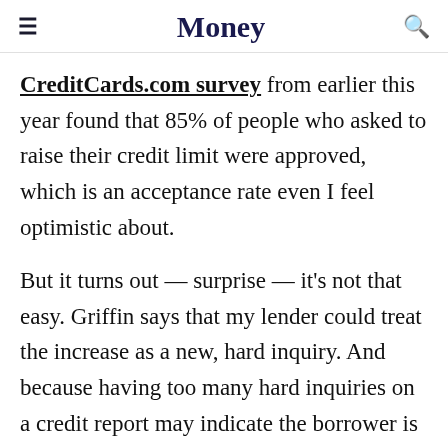Money
CreditCards.com survey from earlier this year found that 85% of people who asked to raise their credit limit were approved, which is an acceptance rate even I feel optimistic about.
But it turns out — surprise — it's not that easy. Griffin says that my lender could treat the increase as a new, hard inquiry. And because having too many hard inquiries on a credit report may indicate the borrower is looking for quick money for nefarious reasons and/or front-row tickets to a Nick